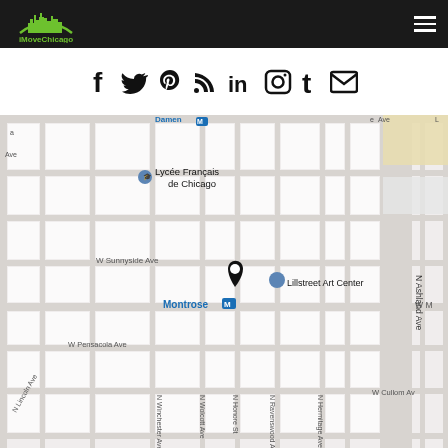[Figure (logo): iMoveChicago logo with green city skyline graphic and text]
[Figure (infographic): Social media icons row: Facebook, Twitter, Pinterest, RSS, LinkedIn, Instagram, Tumblr, Email]
[Figure (map): Google Maps view of Chicago neighborhood showing Lycée Français de Chicago, Montrose M station, Lillstreet Art Center, location pin marker, and surrounding street grid including N Ashland Ave, W Sunnyside Ave, W Pensacola Ave, N Ravenswood Ave, N Hermitage Ave, N Winchester Ave, N Wolcott Ave, N Honore St, W Cullom Ave, N Lincoln Ave]